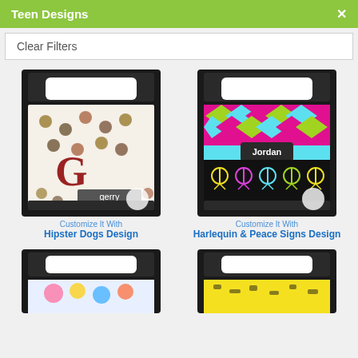Teen Designs
Clear Filters
[Figure (photo): Product photo of a duvet/comforter on a bed with Hipster Dogs design pattern and name 'gerry']
Customize It With
Hipster Dogs Design
[Figure (photo): Product photo of a duvet/comforter on a bed with Harlequin & Peace Signs design pattern and name 'Jordan']
Customize It With
Harlequin & Peace Signs Design
[Figure (photo): Product photo of a duvet/comforter on a bed with colorful cartoon design, partially visible]
[Figure (photo): Product photo of a duvet/comforter on a bed with animal/zebra print design, partially visible]